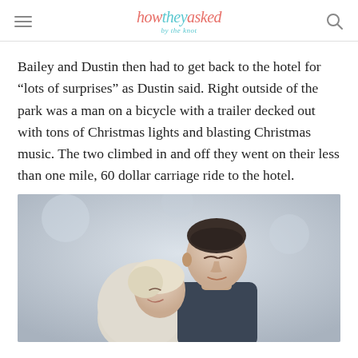how they asked by the knot
Bailey and Dustin then had to get back to the hotel for “lots of surprises” as Dustin said. Right outside of the park was a man on a bicycle with a trailer decked out with tons of Christmas lights and blasting Christmas music. The two climbed in and off they went on their less than one mile, 60 dollar carriage ride to the hotel.
[Figure (photo): A couple closely together, the man with short dark hair leaning toward a woman with light blonde hair, both smiling, soft outdoor background.]